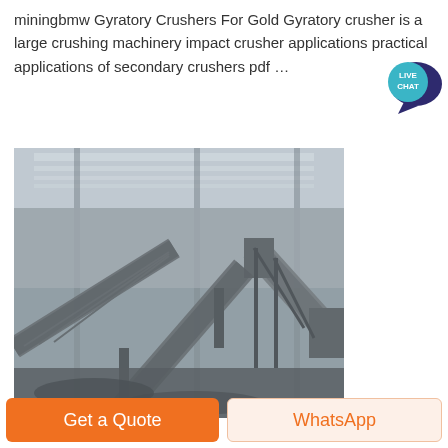miningbmw Gyratory Crushers For Gold Gyratory crusher is a large crushing machinery impact crusher applications practical applications of secondary crushers pdf …
[Figure (photo): Interior of an industrial mining facility showing large conveyor belts and crushing machinery under a steel-framed roof structure. The scene is dusty and grey-toned, showing heavy equipment typical of a gyratory/impact crusher plant.]
Get a Quote
WhatsApp